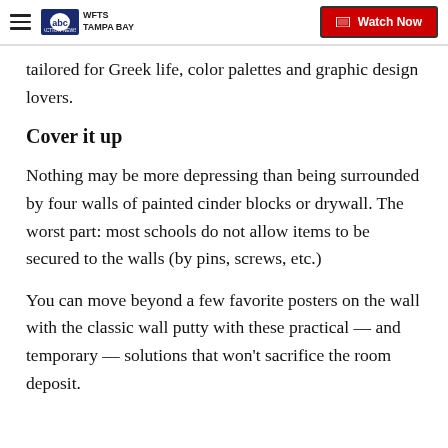WFTS TAMPA BAY | Watch Now
tailored for Greek life, color palettes and graphic design lovers.
Cover it up
Nothing may be more depressing than being surrounded by four walls of painted cinder blocks or drywall. The worst part: most schools do not allow items to be secured to the walls (by pins, screws, etc.)
You can move beyond a few favorite posters on the wall with the classic wall putty with these practical — and temporary — solutions that won't sacrifice the room deposit.